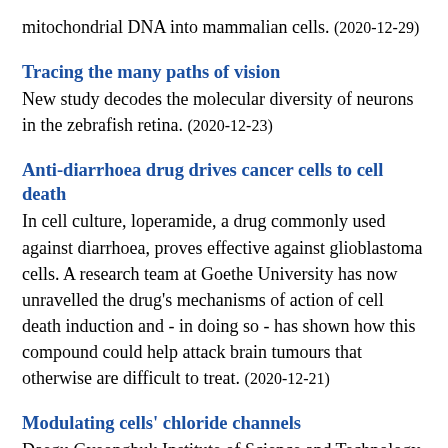mitochondrial DNA into mammalian cells. (2020-12-29)
Tracing the many paths of vision
New study decodes the molecular diversity of neurons in the zebrafish retina. (2020-12-23)
Anti-diarrhoea drug drives cancer cells to cell death
In cell culture, loperamide, a drug commonly used against diarrhoea, proves effective against glioblastoma cells. A research team at Goethe University has now unravelled the drug's mechanisms of action of cell death induction and - in doing so - has shown how this compound could help attack brain tumours that otherwise are difficult to treat. (2020-12-21)
Modulating cells' chloride channels
Daegu Gyeongbuk Institute of Science and Technology (DGIST) researchers gain deeper insight into a cell membrane channel, with potential implications for drug